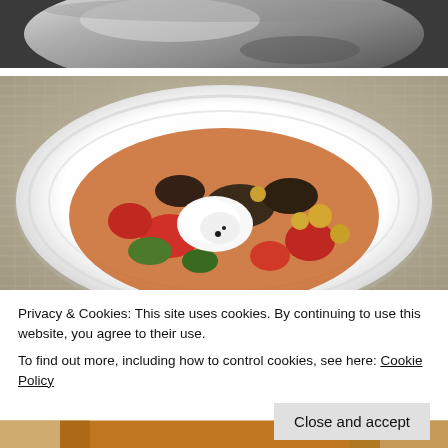[Figure (photo): Close-up of a shiny metallic pot or pan, silver/chrome colored, seen from above, dark background]
[Figure (photo): A white decorative plate with embossed swirl pattern on a woven placemat, containing a colorful stew of roasted vegetables including tomatoes, eggplant, chickpeas, zucchini, and a dollop of white cream or yogurt on top]
Privacy & Cookies: This site uses cookies. By continuing to use this website, you agree to their use.
To find out more, including how to control cookies, see here: Cookie Policy
Close and accept
[Figure (photo): Partial view of another food dish at the bottom of the page, warm tones, barely visible]